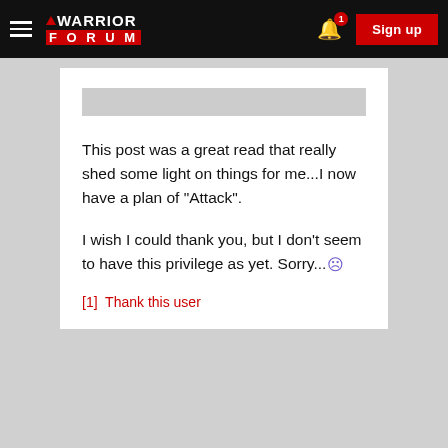[Figure (screenshot): Warrior Forum navigation bar with hamburger menu, logo, bell notification icon with badge '1', and red Sign up button]
This post was a great read that really shed some light on things for me...I now have a plan of "Attack".
I wish I could thank you, but I don't seem to have this privilege as yet. Sorry...☹
[1]  Thank this user